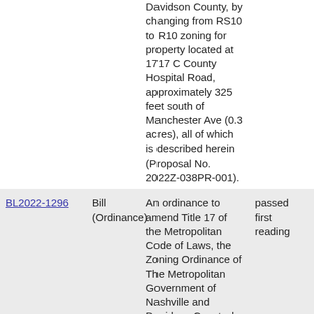|  |  | Description | Status |
| --- | --- | --- | --- |
|  |  | Davidson County, by changing from RS10 to R10 zoning for property located at 1717 C County Hospital Road, approximately 325 feet south of Manchester Ave (0.3 acres), all of which is described herein (Proposal No. 2022Z-038PR-001). |  |
| BL2022-1296 | Bill (Ordinance) | An ordinance to amend Title 17 of the Metropolitan Code of Laws, the Zoning Ordinance of The Metropolitan Government of Nashville and Davidson County, by changing from RS5 to R6-A zoning for | passed first reading |